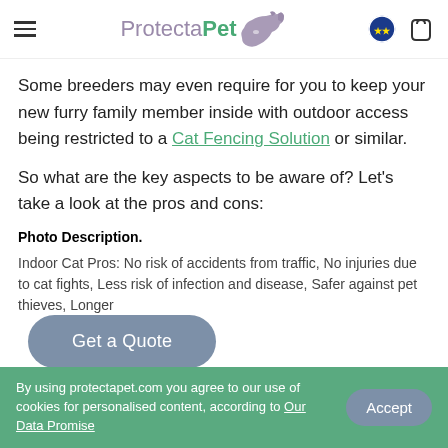ProtectaPet
Some breeders may even require for you to keep your new furry family member inside with outdoor access being restricted to a Cat Fencing Solution or similar.
So what are the key aspects to be aware of? Let's take a look at the pros and cons:
Photo Description.
Indoor Cat Pros: No risk of accidents from traffic, No injuries due to cat fights, Less risk of infection and disease, Safer against pet thieves, Longer
By using protectapet.com you agree to our use of cookies for personalised content, according to Our Data Promise